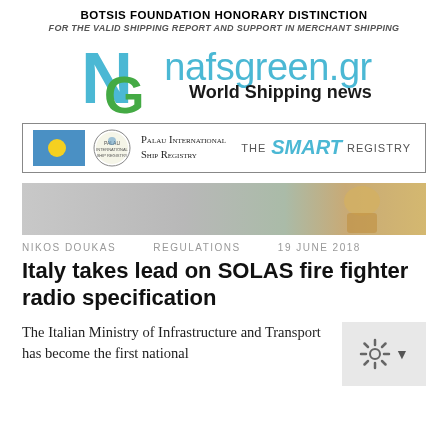BOTSIS FOUNDATION HONORARY DISTINCTION
FOR THE VALID SHIPPING REPORT AND SUPPORT IN MERCHANT SHIPPING
[Figure (logo): nafsgreen.gr logo with cyan N and green G letters, site name 'nafsgreen.gr' in cyan and 'World Shipping news' in bold black]
[Figure (logo): Palau International Ship Registry banner with Palau flag, registry emblem, and text 'THE SMART REGISTRY']
[Figure (photo): Hero image showing a firefighter or worker in yellow gear, partially visible, light grey background]
NIKOS DOUKAS   REGULATIONS   19 JUNE 2018
Italy takes lead on SOLAS fire fighter radio specification
The Italian Ministry of Infrastructure and Transport has become the first national